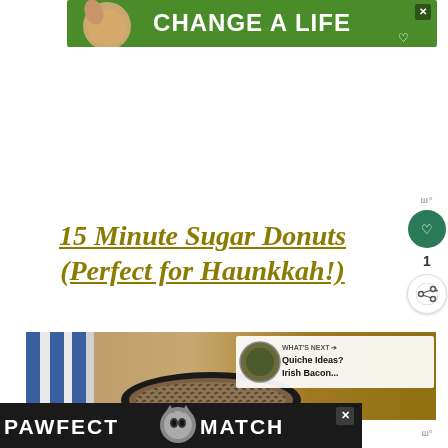[Figure (illustration): Green advertisement banner with a dog image and text 'CHANGE A LIFE']
15 Minute Sugar Donuts (Perfect for Haunkkah!)
[Figure (photo): Photo of food (seeds/donuts) in a dark bowl with blue and white striped fabric, with a 'What's Next' overlay showing Quiche Ideas? Irish Bacon...]
[Figure (illustration): Bottom advertisement banner with cat image and text 'PAWFECT MATCH' on dark background]